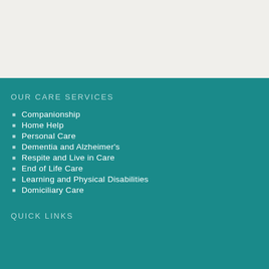OUR CARE SERVICES
Companionship
Home Help
Personal Care
Dementia and Alzheimer's
Respite and Live in Care
End of Life Care
Learning and Physical Disabilities
Domiciliary Care
QUICK LINKS